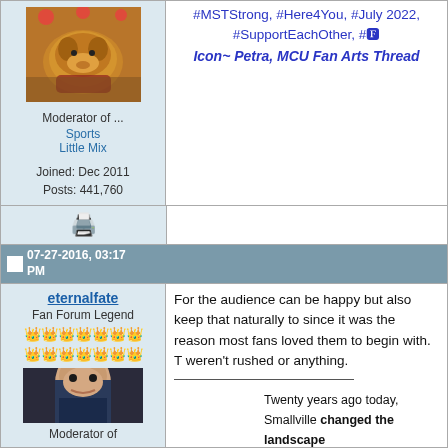#MSTStrong, #Here4You, #July 2022, #SupportEachOther, #[emoji]
Icon~ Petra, MCU Fan Arts Thread
Moderator of ...
Sports
Little Mix
Joined: Dec 2011
Posts: 441,760
07-27-2016, 03:17 PM
eternalfate
Fan Forum Legend
For the audience can be happy but also keep that naturally to since it was the reason most fans loved them to begin with. T weren't rushed or anything.
Twenty years ago today, Smallville changed the landscape of comic book shows forever premiered and succeeded on every single level.
2 Years of Stargirl
Moderator of